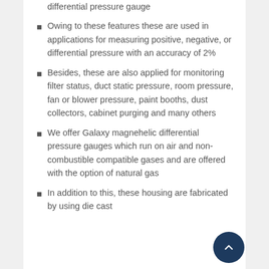differential pressure gauge
Owing to these features these are used in applications for measuring positive, negative, or differential pressure with an accuracy of 2%
Besides, these are also applied for monitoring filter status, duct static pressure, room pressure, fan or blower pressure, paint booths, dust collectors, cabinet purging and many others
We offer Galaxy magnehelic differential pressure gauges which run on air and non-combustible compatible gases and are offered with the option of natural gas
In addition to this, these housing are fabricated by using die cast